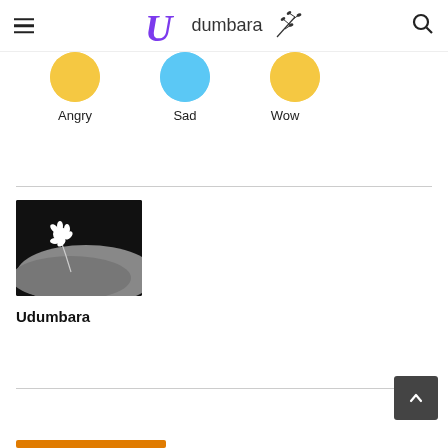Udumbara
[Figure (illustration): Emoji reaction icons: Angry, Sad, Wow with circular colored backgrounds]
Angry    Sad    Wow
[Figure (photo): A small white flower with thin stem resting on a dark rock against black background]
Udumbara